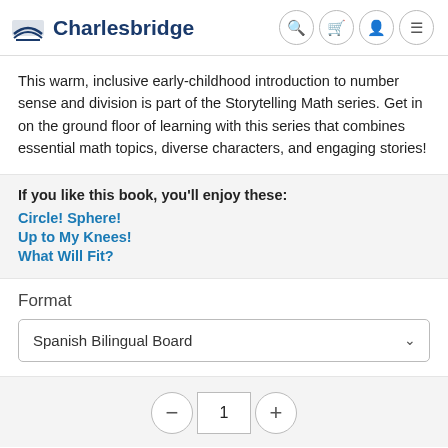Charlesbridge
This warm, inclusive early-childhood introduction to number sense and division is part of the Storytelling Math series. Get in on the ground floor of learning with this series that combines essential math topics, diverse characters, and engaging stories!
If you like this book, you'll enjoy these:
Circle! Sphere!
Up to My Knees!
What Will Fit?
Format
Spanish Bilingual Board